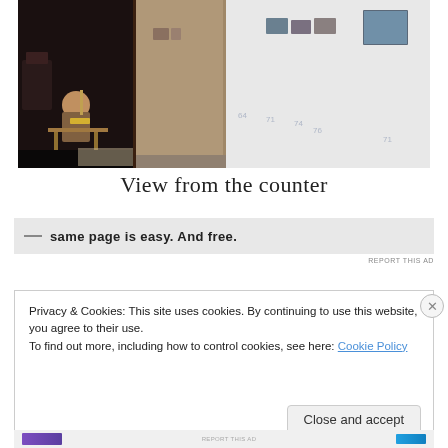[Figure (photo): Interior view of an art gallery/cafe space. On the left, a person sits at a table in a dimly lit room with dark floors and wooden furniture. In the center and right, white gallery walls display several framed photographs or artworks hung at various heights.]
View from the counter
[Figure (other): Partial advertisement banner showing bold text: 'same page is easy. And free.' with a grey background.]
REPORT THIS AD
Privacy & Cookies: This site uses cookies. By continuing to use this website, you agree to their use.
To find out more, including how to control cookies, see here: Cookie Policy
Close and accept